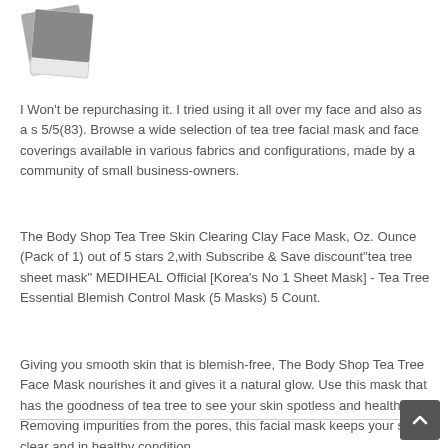[Figure (illustration): Two overlapping polaroid-style photo placeholder icons in grey tones]
I Won't be repurchasing it. I tried using it all over my face and also as a s 5/5(83). Browse a wide selection of tea tree facial mask and face coverings available in various fabrics and configurations, made by a community of small business-owners.
The Body Shop Tea Tree Skin Clearing Clay Face Mask, Oz. Ounce (Pack of 1) out of 5 stars 2,with Subscribe & Save discount"tea tree sheet mask" MEDIHEAL Official [Korea's No 1 Sheet Mask] - Tea Tree Essential Blemish Control Mask (5 Masks) 5 Count.
Giving you smooth skin that is blemish-free, The Body Shop Tea Tree Face Mask nourishes it and gives it a natural glow. Use this mask that has the goodness of tea tree to see your skin spotless and healthy. Removing impurities from the pores, this facial mask keeps your skin clear and in healthy condition.